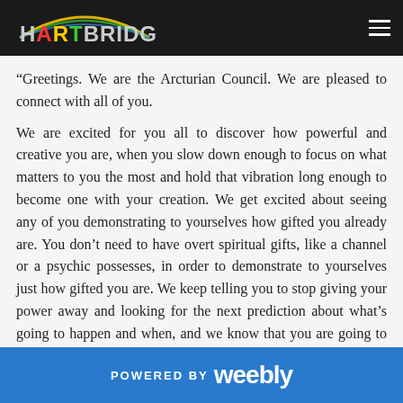HARTBRIDGE.ca
“Greetings. We are the Arcturian Council. We are pleased to connect with all of you.
We are excited for you all to discover how powerful and creative you are, when you slow down enough to focus on what matters to you the most and hold that vibration long enough to become one with your creation. We get excited about seeing any of you demonstrating to yourselves how gifted you already are. You don’t need to have overt spiritual gifts, like a channel or a psychic possesses, in order to demonstrate to yourselves just how gifted you are. We keep telling you to stop giving your power away and looking for the next prediction about what’s going to happen and when, and we know that you are going to do that when you demonstrate to
POWERED BY weebly